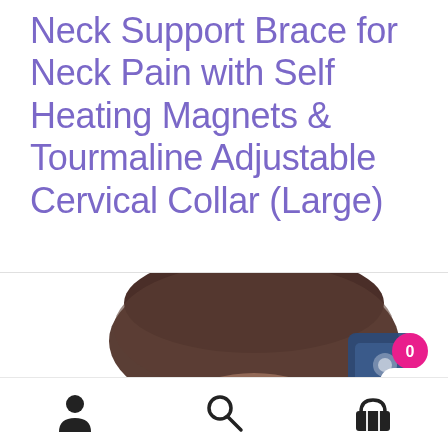Neck Support Brace for Neck Pain with Self Heating Magnets & Tourmaline Adjustable Cervical Collar (Large)
[Figure (photo): Back view of a person's head/neck wearing or about to wear a neck brace, shown from behind with dark brown hair. Also visible is a partial product shot of a blue neck brace item in the lower right.]